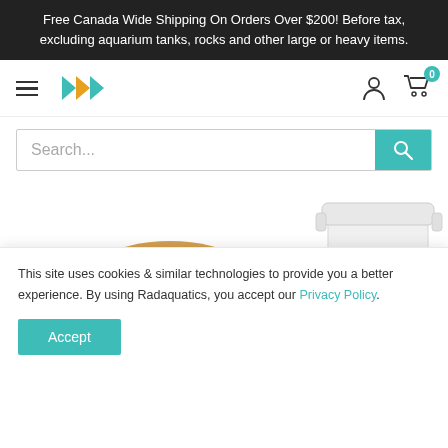Free Canada Wide Shipping On Orders Over $200! Before tax, excluding aquarium tanks, rocks and other large or heavy items.
[Figure (logo): Radaquatics logo with teal and orange arrow shapes forming 'RAD']
[Figure (screenshot): Search bar with teal search button and product images below showing a cookie/sand substrate and an ADA container]
This site uses cookies & similar technologies to provide you a better experience. By using Radaquatics, you accept our Privacy Policy.
Accept